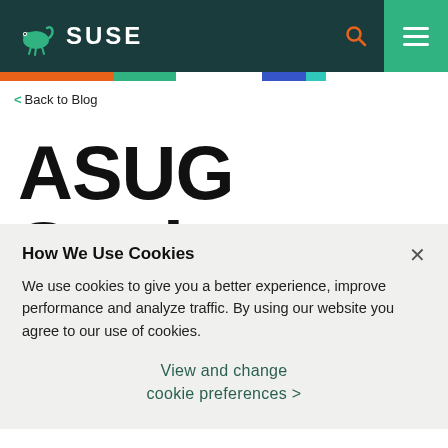[Figure (logo): SUSE logo with chameleon icon and SUSE wordmark in white on dark teal navigation bar with search icon and hamburger menu]
< Back to Blog
ASUG Study
How We Use Cookies
We use cookies to give you a better experience, improve performance and analyze traffic. By using our website you agree to our use of cookies.
View and change cookie preferences >